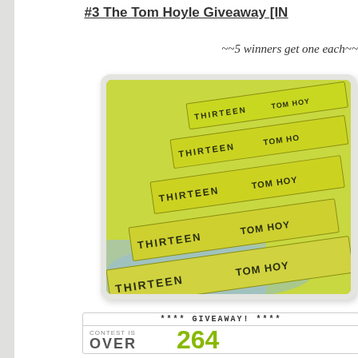#3 The Tom Hoyle Giveaway [IN...
~~5 winners get one each~~
[Figure (photo): Stack of five yellow-green hardcover books titled 'THIRTEEN' by Tom Hoyle, arranged in a staggered stack showing their spines, placed on a surface with blue patterns.]
**** GIVEAWAY! ****
CONTEST IS OVER    264